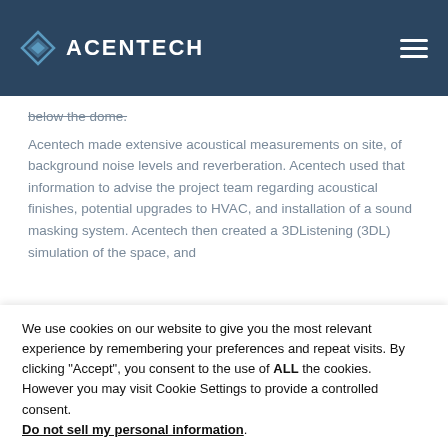ACENTECH
below the dome.
Acentech made extensive acoustical measurements on site, of background noise levels and reverberation. Acentech used that information to advise the project team regarding acoustical finishes, potential upgrades to HVAC, and installation of a sound masking system. Acentech then created a 3DListening (3DL) simulation of the space, and
We use cookies on our website to give you the most relevant experience by remembering your preferences and repeat visits. By clicking "Accept", you consent to the use of ALL the cookies. However you may visit Cookie Settings to provide a controlled consent.
Do not sell my personal information.
Cookie Settings
Accept